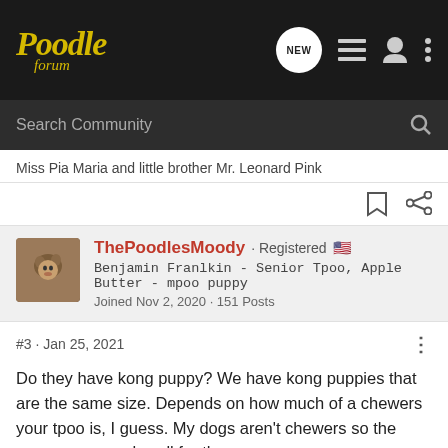Poodle forum — navigation bar with logo, NEW button, list icon, user icon, more icon
Search Community
Miss Pia Maria and little brother Mr. Leonard Pink
ThePoodlesMoody · Registered 🇺🇸
Benjamin Franlkin - Senior Tpoo, Apple Butter - mpoo puppy
Joined Nov 2, 2020 · 151 Posts
#3 · Jan 25, 2021
Do they have kong puppy? We have kong puppies that are the same size. Depends on how much of a chewers your tpoo is, I guess. My dogs aren't chewers so the puppy ones work well for them.

My tpoo also sometimes uses and even prefers a larger size.